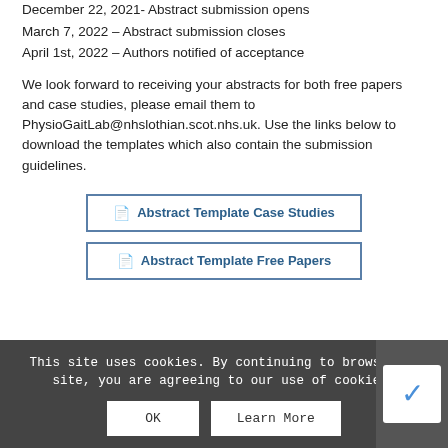December 22, 2021- Abstract submission opens
March 7, 2022 – Abstract submission closes
April 1st, 2022 – Authors notified of acceptance
We look forward to receiving your abstracts for both free papers and case studies, please email them to PhysioGaitLab@nhslothian.scot.nhs.uk. Use the links below to download the templates which also contain the submission guidelines.
[Figure (other): Button link: Abstract Template Case Studies]
[Figure (other): Button link: Abstract Template Free Papers]
This site uses cookies. By continuing to browse the site, you are agreeing to our use of cookies.
OK    Learn More